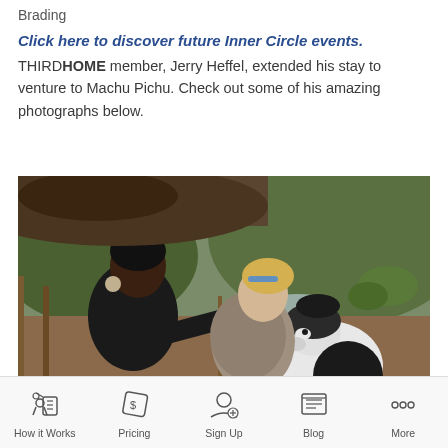Brading
Click here to discover future Inner Circle events. THIRD HOME member, Jerry Heffel, extended his stay to venture to Machu Pichu. Check out some of his amazing photographs below.
[Figure (photo): Two women interacting with a llama or alpaca at what appears to be an outdoor animal enclosure near Machu Pichu. One woman is dressed in black, the other in a patterned jacket. The animal is black and white.]
How it Works   Pricing   Sign Up   Blog   More